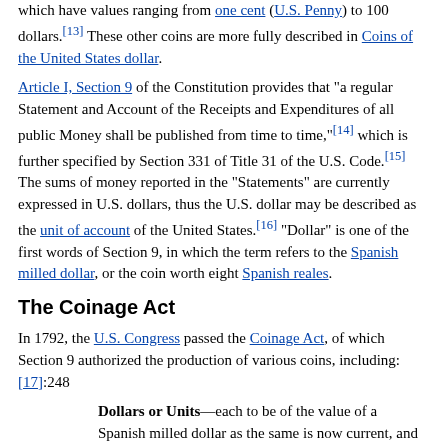which have values ranging from one cent (U.S. Penny) to 100 dollars.[13] These other coins are more fully described in Coins of the United States dollar.
Article I, Section 9 of the Constitution provides that "a regular Statement and Account of the Receipts and Expenditures of all public Money shall be published from time to time,"[14] which is further specified by Section 331 of Title 31 of the U.S. Code.[15] The sums of money reported in the "Statements" are currently expressed in U.S. dollars, thus the U.S. dollar may be described as the unit of account of the United States.[16] "Dollar" is one of the first words of Section 9, in which the term refers to the Spanish milled dollar, or the coin worth eight Spanish reales.
The Coinage Act
In 1792, the U.S. Congress passed the Coinage Act, of which Section 9 authorized the production of various coins, including: [17]:248
Dollars or Units—each to be of the value of a Spanish milled dollar as the same is now current, and to contain three hundred and seventy-one grains and four sixteenth parts of a grain of pure, or four hundred and sixteen grains of standard silver.